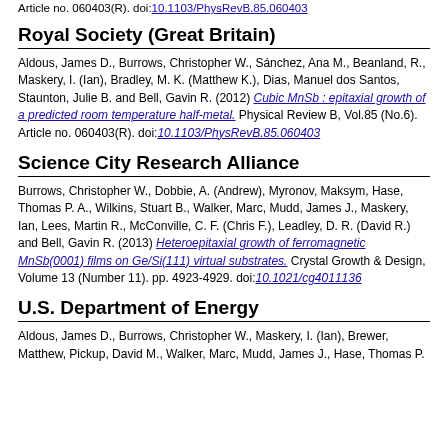Article no. 060403(R). doi:10.1103/PhysRevB.85.060403
Royal Society (Great Britain)
Aldous, James D., Burrows, Christopher W., Sánchez, Ana M., Beanland, R., Maskery, I. (Ian), Bradley, M. K. (Matthew K.), Dias, Manuel dos Santos, Staunton, Julie B. and Bell, Gavin R. (2012) Cubic MnSb : epitaxial growth of a predicted room temperature half-metal. Physical Review B, Vol.85 (No.6). Article no. 060403(R). doi:10.1103/PhysRevB.85.060403
Science City Research Alliance
Burrows, Christopher W., Dobbie, A. (Andrew), Myronov, Maksym, Hase, Thomas P. A., Wilkins, Stuart B., Walker, Marc, Mudd, James J., Maskery, Ian, Lees, Martin R., McConville, C. F. (Chris F.), Leadley, D. R. (David R.) and Bell, Gavin R. (2013) Heteroepitaxial growth of ferromagnetic MnSb(0001) films on Ge/Si(111) virtual substrates. Crystal Growth & Design, Volume 13 (Number 11). pp. 4923-4929. doi:10.1021/cg4011136
U.S. Department of Energy
Aldous, James D., Burrows, Christopher W., Maskery, I. (Ian), Brewer, Matthew, Pickup, David M., Walker, Marc, Mudd, James J., Hase, Thomas P.